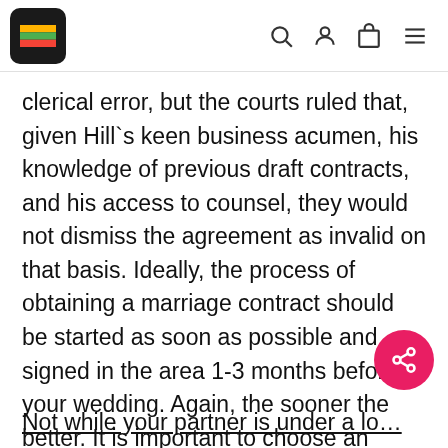Navigation header with Lithuanian flag icon and search/user/cart/menu icons
clerical error, but the courts ruled that, given Hill`s keen business acumen, his knowledge of previous draft contracts, and his access to counsel, they would not dismiss the agreement as invalid on that basis. Ideally, the process of obtaining a marriage contract should be started as soon as possible and signed in the area 1-3 months before your wedding. Again, the sooner the better. It is important to choose an appropriate time and place for these conversations. Not while your partner is under a lo…